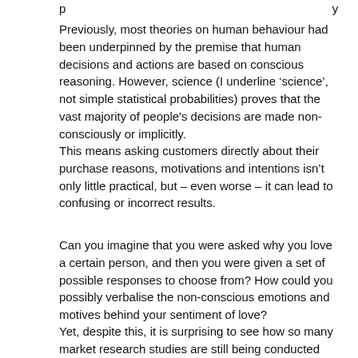Previously, most theories on human behaviour had been underpinned by the premise that human decisions and actions are based on conscious reasoning. However, science (I underline ‘science’, not simple statistical probabilities) proves that the vast majority of people's decisions are made non-consciously or implicitly.
This means asking customers directly about their purchase reasons, motivations and intentions isn’t only little practical, but – even worse – it can lead to confusing or incorrect results.
Can you imagine that you were asked why you love a certain person, and then you were given a set of possible responses to choose from? How could you possibly verbalise the non-conscious emotions and motives behind your sentiment of love?
Yet, despite this, it is surprising to see how so many market research studies are still being conducted under the traditional assumption that most of our purchase decisions are made consciously (also called ‘rational’). Fortunately, in recent